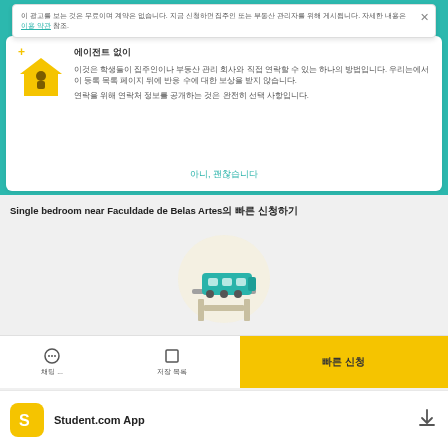이 광고를 보는 것은 무료이며 계약은 없습니다. 지금 신청하면 집주인 또는 부동산 관리자를 위해 게시됩니다. 자세한 내용은 이용 약관 참조.
에이전트 없이
이것은 학생들이 집주인이나 부동산 관리 회사와 직접 연락할 수 있는 하나의 방법입니다. 우리는에서 이 등록 목록 페이지 뒤에 반응 수에 대한 보상을 받지 않습니다. 연락을 위해 연락처 정보를 공개하는 것은 완전히 선택 사항입니다.
아니, 괜찮습니다
Single bedroom near Faculdade de Belas Artes의 빠른 신청하기
[Figure (illustration): Train on an elevated track illustration with teal/green train and light background circle]
채팅 ...
저장 목록
빠른 신청
Student.com App
[Figure (logo): Student.com yellow app icon with S logo]